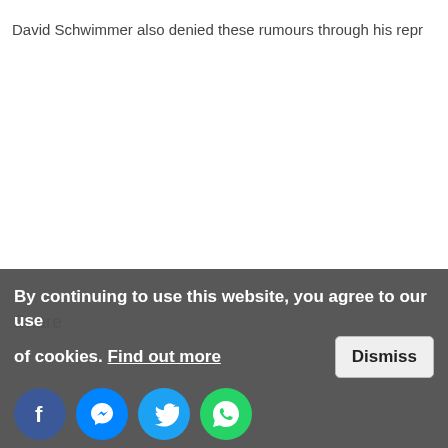David Schwimmer also denied these rumours through his repr
Share
By continuing to use this website, you agree to our use of cookies. Find out more
Dismiss